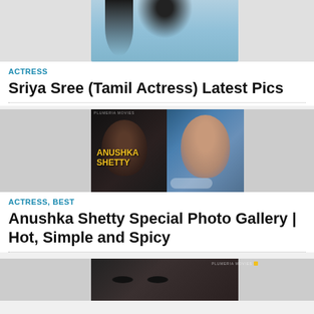[Figure (photo): Partial photo of a woman with long dark hair, wearing a blue top, cropped at top of page]
ACTRESS
Sriya Sree (Tamil Actress) Latest Pics
[Figure (photo): Anushka Shetty photo gallery thumbnail showing her in a blue saree with jasmine in hair, text overlay reading ANUSHKA SHETTY]
ACTRESS, BEST
Anushka Shetty Special Photo Gallery | Hot, Simple and Spicy
[Figure (photo): Partial thumbnail of a woman's face in dark tones, cropped at bottom of page]